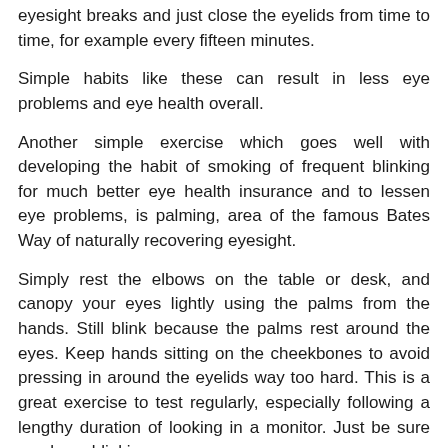eyesight breaks and just close the eyelids from time to time, for example every fifteen minutes.
Simple habits like these can result in less eye problems and eye health overall.
Another simple exercise which goes well with developing the habit of smoking of frequent blinking for much better eye health insurance and to lessen eye problems, is palming, area of the famous Bates Way of naturally recovering eyesight.
Simply rest the elbows on the table or desk, and canopy your eyes lightly using the palms from the hands. Still blink because the palms rest around the eyes. Keep hands sitting on the cheekbones to avoid pressing in around the eyelids way too hard. This is a great exercise to test regularly, especially following a lengthy duration of looking in a monitor. Just be sure you keep blinking.